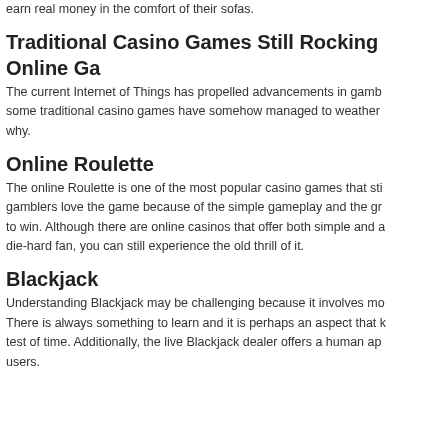earn real money in the comfort of their sofas.
Traditional Casino Games Still Rocking Online Ga
The current Internet of Things has propelled advancements in gamb some traditional casino games have somehow managed to weather why.
Online Roulette
The online Roulette is one of the most popular casino games that sti gamblers love the game because of the simple gameplay and the gr to win. Although there are online casinos that offer both simple and a die-hard fan, you can still experience the old thrill of it.
Blackjack
Understanding Blackjack may be challenging because it involves mo There is always something to learn and it is perhaps an aspect that k test of time. Additionally, the live Blackjack dealer offers a human ap users.